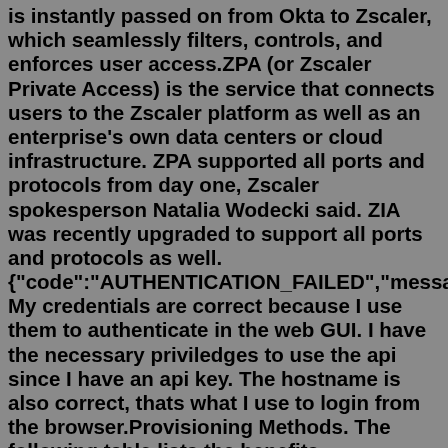is instantly passed on from Okta to Zscaler, which seamlessly filters, controls, and enforces user access.ZPA (or Zscaler Private Access) is the service that connects users to the Zscaler platform as well as an enterprise's own data centers or cloud infrastructure. ZPA supported all ports and protocols from day one, Zscaler spokesperson Natalia Wodecki said. ZIA was recently upgraded to support all ports and protocols as well. {"code":"AUTHENTICATION_FAILED","message": My credentials are correct because I use them to authenticate in the web GUI. I have the necessary priviledges to use the api since I have an api key. The hostname is also correct, thats what I use to login from the browser.Provisioning Methods. The following table lists the benefits, requirements, and supported authentication methods for the five supported provisioning methods: Identity Federation using SAML, SCIM, Hosted User Database, synchronization with a directory server, and Zscaler Authentication Bridge. Identity Federation Using